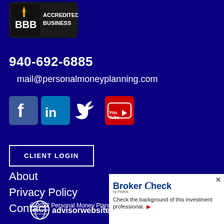[Figure (logo): BBB Accredited Business logo — white BBB letters on black background with torch icon and 'ACCREDITED BUSINESS' text]
940-692-6885
mail@personalmoneyplanning.com
[Figure (infographic): Social media icons: Facebook (blue square with f), LinkedIn (blue square with in), Twitter (blue bird), YouTube (red rectangle with play button)]
CLIENT LOGIN
About
Privacy Policy
Contact
© 2022 Personal Money Planning All rights
[Figure (logo): Advisor Websites logo — circular icon with globe and 'advisorwebsites™' text]
[Figure (infographic): FINRA BrokerCheck widget — white box with BrokerCheck by FINRA logo and text 'Check the background of this investment professional.' with red arrow button. X close button in corner.]